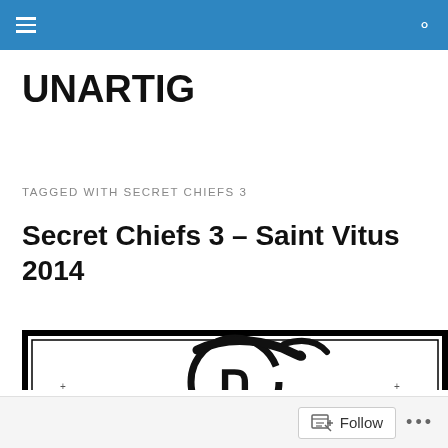UNARTIG — navigation bar with hamburger menu and search icon
UNARTIG
TAGGED WITH SECRET CHIEFS 3
Secret Chiefs 3 – Saint Vitus 2014
[Figure (illustration): Black and white album/event artwork showing a circular Hebrew letter (chet) symbol with calligraphic brushstrokes forming a ring around it, small decorative cross and triangle symbols in the corners, all within a thick black border frame.]
Follow   ...